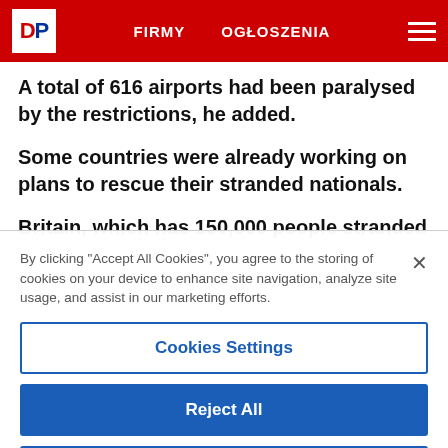DP | FIRMY | OGŁOSZENIA
A total of 616 airports had been paralysed by the restrictions, he added.
Some countries were already working on plans to rescue their stranded nationals.
Britain, which has 150,000 people stranded
By clicking "Accept All Cookies", you agree to the storing of cookies on your device to enhance site navigation, analyze site usage, and assist in our marketing efforts.
Cookies Settings
Reject All
Accept All Cookies